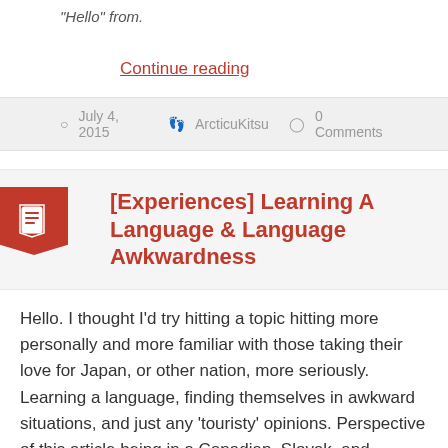“Hello” from.
Continue reading
July 4, 2015  ArcticuKitsu  0 Comments
[Experiences] Learning A Language & Language Awkwardness
Hello. I thought I’d try hitting a topic hitting more personally and more familiar with those taking their love for Japan, or other nation, more seriously. Learning a language, finding themselves in awkward situations, and just any ‘touristy’ opinions. Perspective of this article being in a Canadian, Slovak, and Japanese